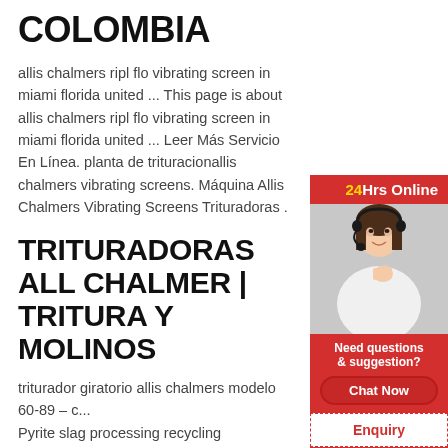COLOMBIA
allis chalmers ripl flo vibrating screen in miami florida united ... This page is about allis chalmers ripl flo vibrating screen in miami florida united ... Leer Más Servicio En Línea. planta de trituracionallis chalmers vibrating screens. Máquina Allis Chalmers Vibrating Screens Trituradoras .
TRITURADORAS ALL CHALMER | TRITURA Y MOLINOS
[Figure (photo): Sidebar with 24Hrs Online header, photo of a woman with headset, Need questions & suggestion? text, Chat Now button, Enquiry link, and limingjlmofen footer]
triturador giratorio allis chalmers modelo 60-89 – c... Pyrite slag processing recycling machine,non ferr... ripl-flo vibrating screen in Miami, Florida, United S... electrolytic recovery
WHAT IS RIPL FLO